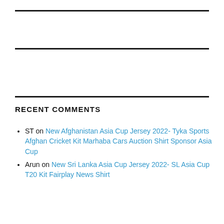RECENT COMMENTS
ST on New Afghanistan Asia Cup Jersey 2022- Tyka Sports Afghan Cricket Kit Marhaba Cars Auction Shirt Sponsor Asia Cup
Arun on New Sri Lanka Asia Cup Jersey 2022- SL Asia Cup T20 Kit Fairplay News Shirt